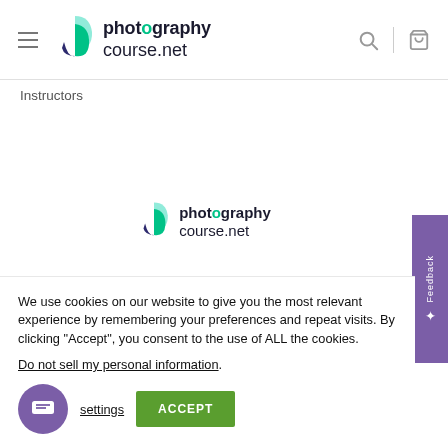[Figure (logo): photographycourse.net logo in header with hamburger menu, search and cart icons]
Instructors
[Figure (logo): photographycourse.net logo centered in page body]
Feedback
We use cookies on our website to give you the most relevant experience by remembering your preferences and repeat visits. By clicking “Accept”, you consent to the use of ALL the cookies.
Do not sell my personal information.
settings
ACCEPT